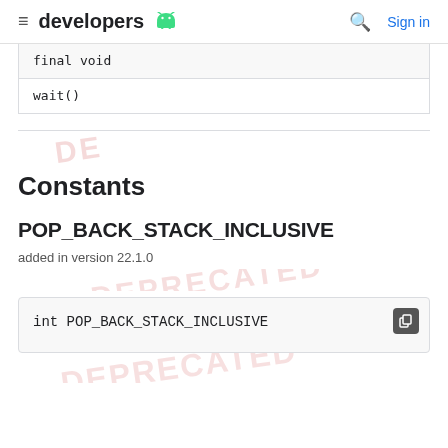≡ developers 🤖   🔍 Sign in
| final void |
| wait() |
Constants
POP_BACK_STACK_INCLUSIVE
added in version 22.1.0
int POP_BACK_STACK_INCLUSIVE